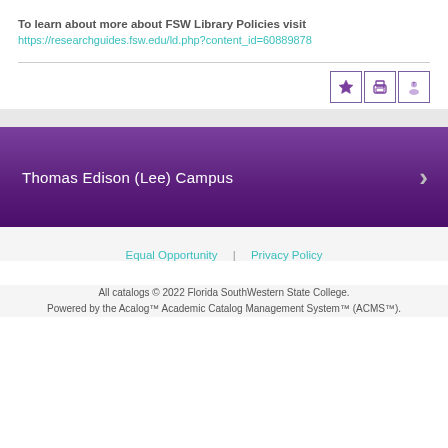To learn about more about FSW Library Policies visit
https://researchguides.fsw.edu/ld.php?content_id=60889878
[Figure (other): Three icon buttons: star, printer, and person/profile icon, each in a purple-bordered box]
Thomas Edison (Lee) Campus
Equal Opportunity | Privacy Policy
All catalogs © 2022 Florida SouthWestern State College. Powered by the Acalog™ Academic Catalog Management System™ (ACMS™).